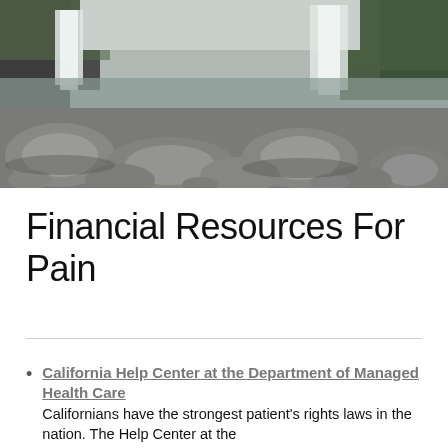[Figure (photo): Landscape photo of a waterfall with rocky river bed in the foreground and green cliffs in the background]
Financial Resources For Pain
California Help Center at the Department of Managed Health Care — Californians have the strongest patient's rights laws in the nation. The Help Center at the...